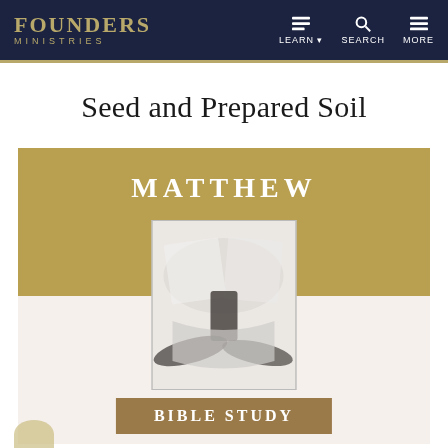FOUNDERS MINISTRIES | LEARN | SEARCH | MORE
Seed and Prepared Soil
[Figure (illustration): Card graphic with gold banner showing MATTHEW in bold white text, a black-and-white photo of an open Bible, and a brown badge reading BIBLE STUDY below]